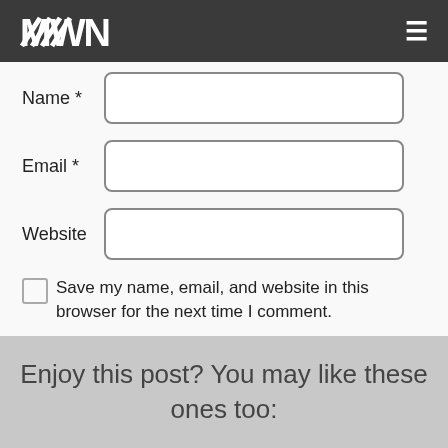MWN [logo] ≡
Name *
Email *
Website
Save my name, email, and website in this browser for the next time I comment.
Post Comment
Enjoy this post? You may like these ones too: